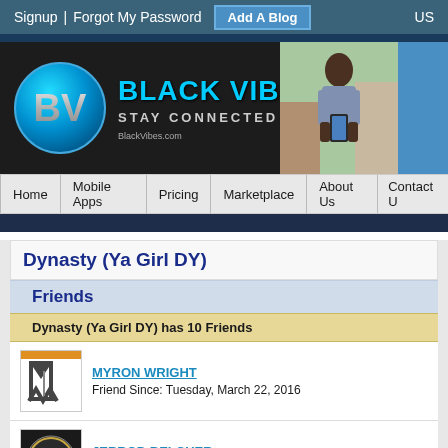Signup | Forgot My Password | Add A Blog | US
[Figure (logo): Black Vibes logo with circular BN emblem and 'BLACK VIBES - STAY CONNECTED' text, plus photo of woman on phone]
Home | Mobile Apps | Pricing | Marketplace | About Us | Contact U
Dynasty (Ya Girl DY)
Friends
Dynasty (Ya Girl DY) has 10 Friends
MYRON WRIGHT
Friend Since: Tuesday, March 22, 2016
JERROD BELCHER
Friend Since: Wednesday, December 23, 2015